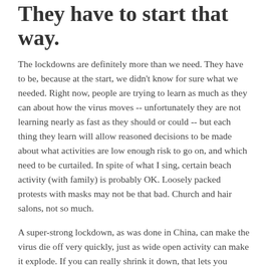They have to start that way.
The lockdowns are definitely more than we need. They have to be, because at the start, we didn't know for sure what we needed. Right now, people are trying to learn as much as they can about how the virus moves -- unfortunately they are not learning nearly as fast as they should or could -- but each thing they learn will allow reasoned decisions to be made about what activities are low enough risk to go on, and which need to be curtailed. In spite of what I sing, certain beach activity (with family) is probably OK. Loosely packed protests with masks may not be that bad. Church and hair salons, not so much.
A super-strong lockdown, as was done in China, can make the virus die off very quickly, just as wide open activity can make it explode. If you can really shrink it down, that lets you actually let off the lockdown a fair bit, just to the point before it goes exponential. Each defiance, each new risk, is delaying the day we can do that. By congregating, by defying the stay-at-home, you are the one delaying the day we can open up again. Around the world, other countries which didn't defy have declining cases, while many of the states in the USA have increasing ones. You are the cause of the very thing you are marching against.
What about forcing us to wear masks?